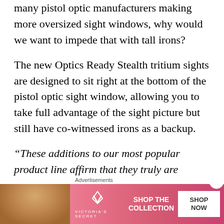many pistol optic manufacturers making more oversized sight windows, why would we want to impede that with tall irons?
The new Optics Ready Stealth tritium sights are designed to sit right at the bottom of the pistol optic sight window, allowing you to take full advantage of the sight picture but still have co-witnessed irons as a backup.
“These additions to our most popular product line affirm that they truly are designed with our
[Figure (other): Victoria's Secret advertisement banner with a model photo on the left, VS logo in the center, 'SHOP THE COLLECTION' text, and a 'SHOP NOW' white button. Pink gradient background.]